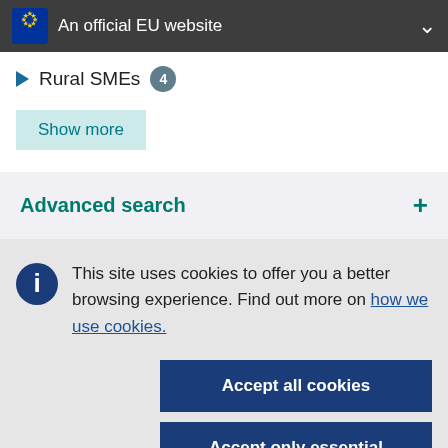An official EU website
Rural SMEs 4
Show more
Advanced search +
This site uses cookies to offer you a better browsing experience. Find out more on how we use cookies.
Accept all cookies
Accept only essential cookies